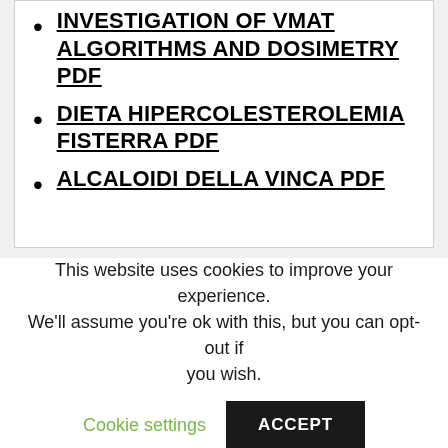INVESTIGATION OF VMAT ALGORITHMS AND DOSIMETRY PDF
DIETA HIPERCOLESTEROLEMIA FISTERRA PDF
ALCALOIDI DELLA VINCA PDF
This website uses cookies to improve your experience. We'll assume you're ok with this, but you can opt-out if you wish.
Cookie settings
ACCEPT